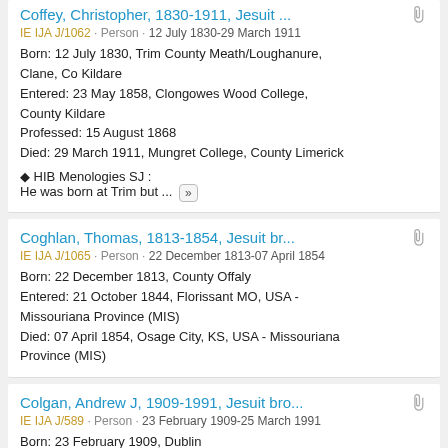Coffey, Christopher, 1830-1911, Jesuit ...
IE IJA J/1062 · Person · 12 July 1830-29 March 1911
Born: 12 July 1830, Trim County Meath/Loughanure, Clane, Co Kildare
Entered: 23 May 1858, Clongowes Wood College, County Kildare
Professed: 15 August 1868
Died: 29 March 1911, Mungret College, County Limerick
◆ HIB Menologies SJ :
He was born at Trim but ... »
Coghlan, Thomas, 1813-1854, Jesuit br...
IE IJA J/1065 · Person · 22 December 1813-07 April 1854
Born: 22 December 1813, County Offaly
Entered: 21 October 1844, Florissant MO, USA - Missouriana Province (MIS)
Died: 07 April 1854, Osage City, KS, USA - Missouriana Province (MIS)
Colgan, Andrew J, 1909-1991, Jesuit bro...
IE IJA J/589 · Person · 23 February 1909-25 March 1991
Born: 23 February 1909, Dublin